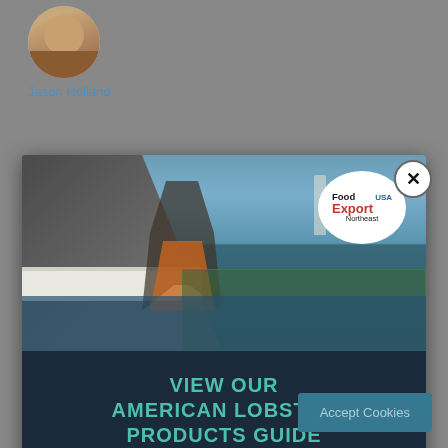[Figure (photo): Screenshot of a webpage showing a popup advertisement. Background shows a gray social media-style page with a circular avatar photo and the name Jason Holland. A modal popup contains a photo of a fisherman on a boat handling lobster traps with a lighthouse in the background, and the Food Export USA Northeast logo. Below the photo is a dark navy section with promotional text and a download button.]
Jason Holland
VIEW OUR AMERICAN LOBSTER PRODUCTS GUIDE
PROFITABLE • SUSTAINABLE • DELICIOUS
DOWNLOAD NOW
Accept Cookies